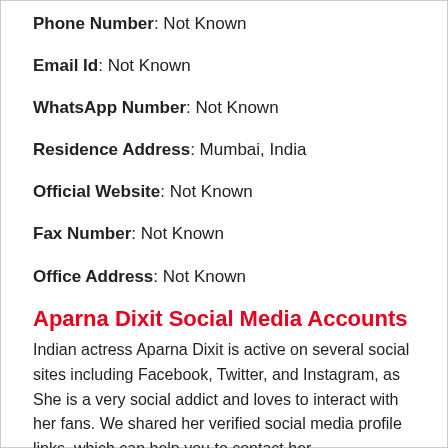Phone Number: Not Known
Email Id: Not Known
WhatsApp Number: Not Known
Residence Address: Mumbai, India
Official Website: Not Known
Fax Number: Not Known
Office Address: Not Known
Aparna Dixit Social Media Accounts
Indian actress Aparna Dixit is active on several social sites including Facebook, Twitter, and Instagram, as She is a very social addict and loves to interact with her fans. We shared her verified social media profile links, which can help you to contact her.
Instagram: Here